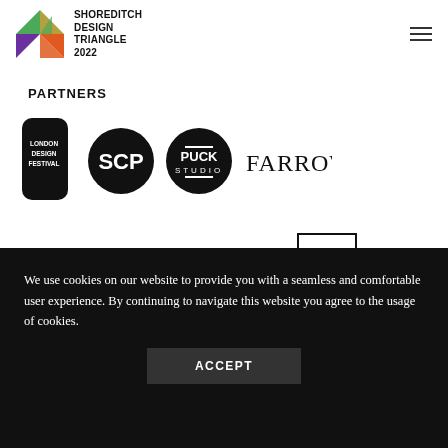[Figure (logo): Shoreditch Design Triangle 2022 logo with colourful geometric triangles and black text]
PARTNERS
[Figure (logo): London Design Festival logo — black rounded-rectangle badge with white text]
[Figure (logo): SCP logo — black circle with white SCP letters]
[Figure (logo): Puck Studio logo — black circle with white text PUCK STUDIO]
[Figure (logo): FARROW wordmark in black serif capital letters]
[Figure (logo): Dezeen wordmark in lowercase black letters]
[Figure (logo): stir wordmark in lowercase black letters]
[Figure (logo): enki wordmark in lowercase black letters]
[Figure (logo): LOAH logo — black bordered rectangle with cloud/abstract shape and LOAH text]
We use cookies on our website to provide you with a seamless and comfortable user experience. By continuing to navigate this website you agree to the usage of cookies.
ACCEPT